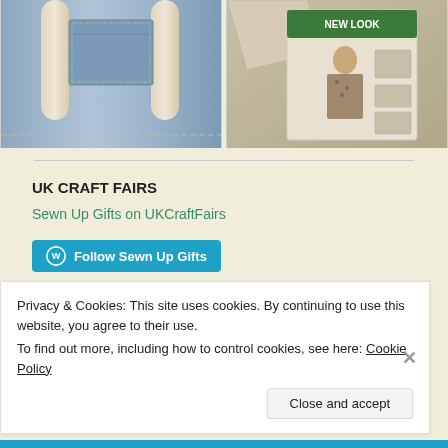[Figure (photo): Close-up of a denim tote bag with cream/beige handles, showing jeans pocket detail]
[Figure (photo): New Look sewing pattern envelope with a person wearing a floral shirt, fabric and pattern pieces visible]
UK CRAFT FAIRS
Sewn Up Gifts on UKCraftFairs
Follow Sewn Up Gifts
Privacy & Cookies: This site uses cookies. By continuing to use this website, you agree to their use.
To find out more, including how to control cookies, see here: Cookie Policy
Close and accept